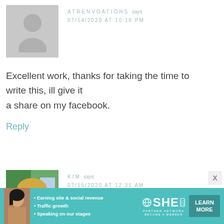[Figure (illustration): Gray placeholder silhouette avatar icon for commenter ATRENVOATIONS]
ATRENVOATIONS says
07/14/2020 AT 10:18 PM
Excellent work, thanks for taking the time to write this, ill give it a share on my facebook.
Reply
[Figure (photo): Photo of Kim, a woman with blonde hair and glasses]
KIM says
07/15/2020 AT 12:31 AM
[Figure (other): SHE Partner Network advertisement banner with bullets: Earning site & social revenue, Traffic growth, Speaking on our stages. Includes LEARN MORE button.]